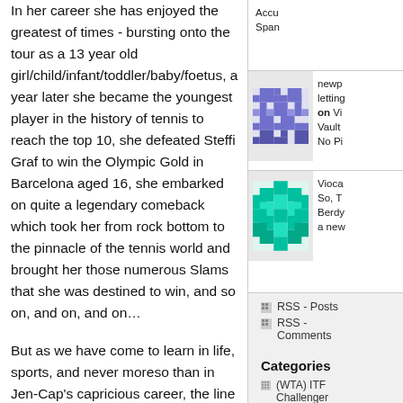In her career she has enjoyed the greatest of times - bursting onto the tour as a 13 year old girl/child/infant/toddler/baby/foetus, a year later she became the youngest player in the history of tennis to reach the top 10, she defeated Steffi Graf to win the Olympic Gold in Barcelona aged 16, she embarked on quite a legendary comeback which took her from rock bottom to the pinnacle of the tennis world and brought her those numerous Slams that she was destined to win, and so on, and on, and on…
But as we have come to learn in life, sports, and never moreso than in Jen-Cap's capricious career, the line between triumph and disaster is perilously thin. Accompanying those career-defining moments were those catastrophic times - from her infamous burnout and breakdown which culminated in her career seemingly lying in tatters as she was arrested for shoplifting and possession of marijuana, to the on-court tantrums and drama, her numerous heartbreaking losses at the semifinal stage at her
[Figure (illustration): Sidebar thumbnail with purple/blue geometric pixel pattern]
newp letting on Vi Vault No Pi
[Figure (illustration): Sidebar thumbnail with teal/cyan geometric diamond pattern]
Vioca So, T Berdy a new
RSS - Posts
RSS - Comments
Categories
(WTA) ITF Challenger
Ana Ivanovic
Andrea